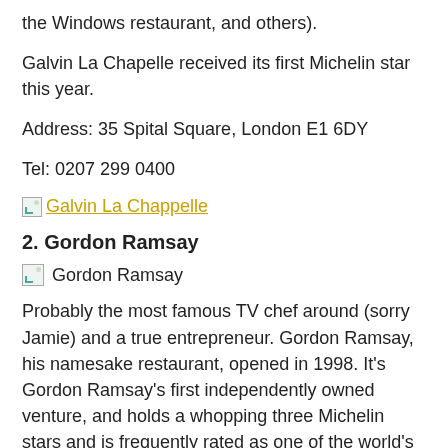the Windows restaurant, and others).
Galvin La Chapelle received its first Michelin star this year.
Address: 35 Spital Square, London E1 6DY
Tel: 0207 299 0400
Galvin La Chappelle
2. Gordon Ramsay
[Figure (photo): Broken image placeholder labeled Gordon Ramsay]
Probably the most famous TV chef around (sorry Jamie) and a true entrepreneur. Gordon Ramsay, his namesake restaurant, opened in 1998. It's Gordon Ramsay's first independently owned venture, and holds a whopping three Michelin stars and is frequently rated as one of the world's best restaurants.
If you're eager to visit, you'd better book in advance: the